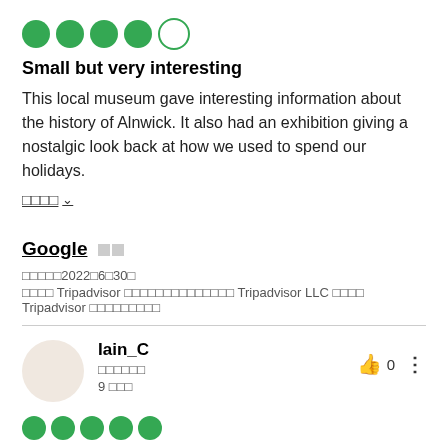[Figure (other): 4.5 out of 5 green circle rating dots (4 filled, 1 empty)]
Small but very interesting
This local museum gave interesting information about the history of Alnwick. It also had an exhibition giving a nostalgic look back at how we used to spend our holidays.
□□□□ ∨
Google □□
□□□□□2022□6□30□
□□□□ Tripadvisor □□□□□□□□□□□□□□ Tripadvisor LLC □□□□ Tripadvisor □□□□□□□□□
Iain_C
□□□□□□
9 □□□
[Figure (other): 5 out of 5 green circle rating dots (all filled)]
Excellent little museum with lots of activities for